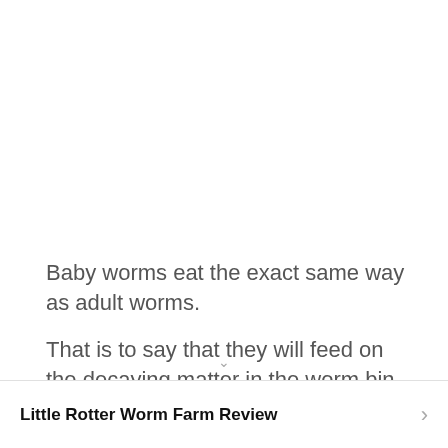Baby worms eat the exact same way as adult worms.
That is to say that they will feed on the decaying matter in the worm bin, in its tiny form in the soil.
Little Rotter Worm Farm Review